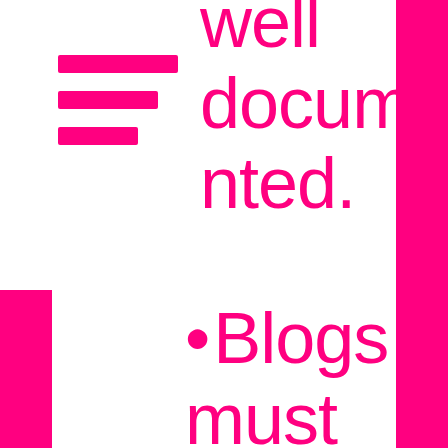[Figure (illustration): Three horizontal pink stripes forming a stylized logo/menu icon]
well documented.
Blogs must be updated by EPM